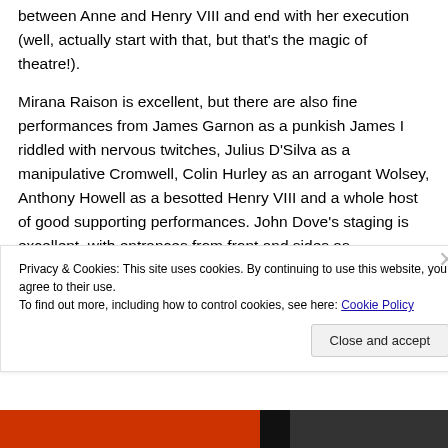between Anne and Henry VIII and end with her execution (well, actually start with that, but that's the magic of theatre!).
Mirana Raison is excellent, but there are also fine performances from James Garnon as a punkish James I riddled with nervous twitches, Julius D'Silva as a manipulative Cromwell, Colin Hurley as an arrogant Wolsey, Anthony Howell as a besotted Henry VIII and a whole host of good supporting performances. John Dove's staging is excellent, with entrances from front and sides as
Privacy & Cookies: This site uses cookies. By continuing to use this website, you agree to their use.
To find out more, including how to control cookies, see here: Cookie Policy